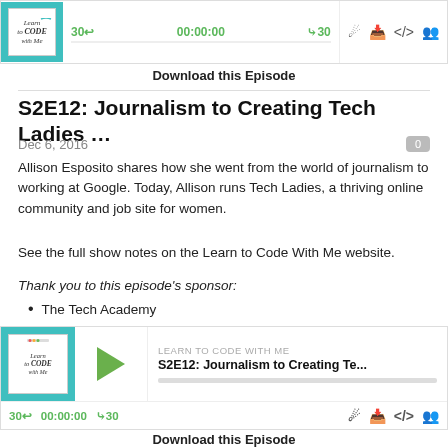[Figure (screenshot): Podcast audio player widget with teal thumbnail, playback controls showing 30s back, 00:00:00 timestamp, 30s forward, and icons for subscribe, download, embed, share]
Download this Episode
S2E12: Journalism to Creating Tech Ladies …
Dec 6, 2016
Allison Esposito shares how she went from the world of journalism to working at Google. Today, Allison runs Tech Ladies, a thriving online community and job site for women.
See the full show notes on the Learn to Code With Me website.
Thank you to this episode's sponsor:
The Tech Academy
[Figure (screenshot): Podcast audio player widget with teal Learn to Code With Me thumbnail, green play button, episode title S2E12: Journalism to Creating Te..., playback controls and icons]
Download this Episode